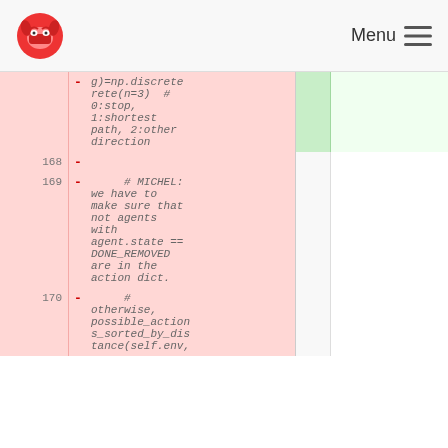Menu
| Line |  | Removed code |  | Added code |
| --- | --- | --- | --- | --- |
|  | - | g)=np.discrete
rete(n=3)  # 0:stop, 1:shortest path, 2:other direction |  |  |
| 168 | - |  |  |  |
| 169 | - |     # MICHEL: we have to make sure that not agents with agent.state == DONE_REMOVED are in the action dict. |  |  |
| 170 | - |     # otherwise, possible_actions_sorted_by_dis tance(self.env, |  |  |